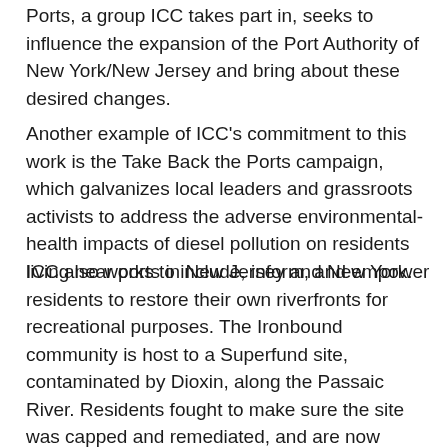Ports, a group ICC takes part in, seeks to influence the expansion of the Port Authority of New York/New Jersey and bring about these desired changes.
Another example of ICC's commitment to this work is the Take Back the Ports campaign, which galvanizes local leaders and grassroots activists to address the adverse environmental-health impacts of diesel pollution on residents living near ports in New Jersey and New York.
ICC also works to include, inform, and empower residents to restore their own riverfronts for recreational purposes. The Ironbound community is host to a Superfund site, contaminated by Dioxin, along the Passaic River. Residents fought to make sure the site was capped and remediated, and are now working to create a community-wide vision on how to best restore the river for community use. ICC was also instrumental in organizing residents to preserve